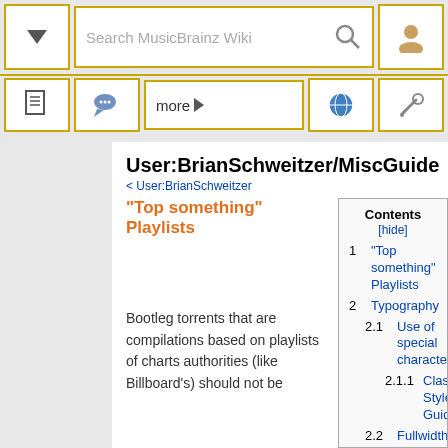Search MusicBrainz Wiki toolbar with navigation buttons
"Top something" Playlists
User:BrianSchweitzer/MiscGuide
< User:BrianSchweitzer
| # | Contents |
| --- | --- |
| 1 | "Top something" Playlists |
| 2 | Typography |
| 2.1 | Use of special characters |
| 2.1.1 | Classical Style Guide |
| 2.2 | Fullwidth characters |
| 2.3 | Compatability, Ligature, and Roman numeral characters |
Bootleg torrents that are compilations based on playlists of charts authorities (like Billboard's) should not be